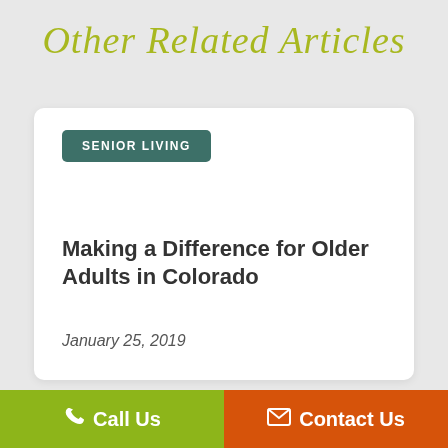Other Related Articles
SENIOR LIVING
Making a Difference for Older Adults in Colorado
January 25, 2019
Call Us
Contact Us